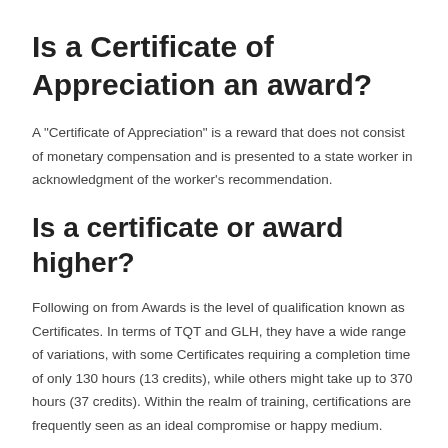Is a Certificate of Appreciation an award?
A "Certificate of Appreciation" is a reward that does not consist of monetary compensation and is presented to a state worker in acknowledgment of the worker's recommendation.
Is a certificate or award higher?
Following on from Awards is the level of qualification known as Certificates. In terms of TQT and GLH, they have a wide range of variations, with some Certificates requiring a completion time of only 130 hours (13 credits), while others might take up to 370 hours (37 credits). Within the realm of training, certifications are frequently seen as an ideal compromise or happy medium.
Is a certificate higher than a